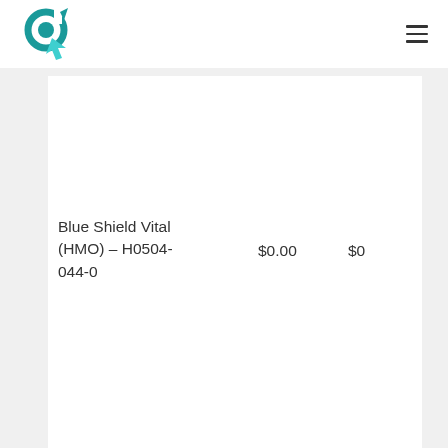| Plan | Premium | Amount |
| --- | --- | --- |
| Blue Shield Vital (HMO) – H0504-044-0 | $0.00 | $0 |